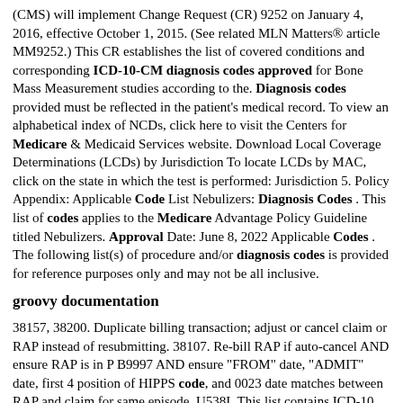(CMS) will implement Change Request (CR) 9252 on January 4, 2016, effective October 1, 2015. (See related MLN Matters® article MM9252.) This CR establishes the list of covered conditions and corresponding ICD-10-CM diagnosis codes approved for Bone Mass Measurement studies according to the. Diagnosis codes provided must be reflected in the patient's medical record. To view an alphabetical index of NCDs, click here to visit the Centers for Medicare & Medicaid Services website. Download Local Coverage Determinations (LCDs) by Jurisdiction To locate LCDs by MAC, click on the state in which the test is performed: Jurisdiction 5. Policy Appendix: Applicable Code List Nebulizers: Diagnosis Codes . This list of codes applies to the Medicare Advantage Policy Guideline titled Nebulizers. Approval Date: June 8, 2022 Applicable Codes . The following list(s) of procedure and/or diagnosis codes is provided for reference purposes only and may not be all inclusive.
groovy documentation
38157, 38200. Duplicate billing transaction; adjust or cancel claim or RAP instead of resubmitting. 38107. Re-bill RAP if auto-cancel AND ensure RAP is in P B9997 AND ensure "FROM" date, "ADMIT" date, first 4 position of HIPPS code, and 0023 date matches between RAP and claim for same episode. U538I. This list contains ICD-10 diagnosis codes that are never covered when